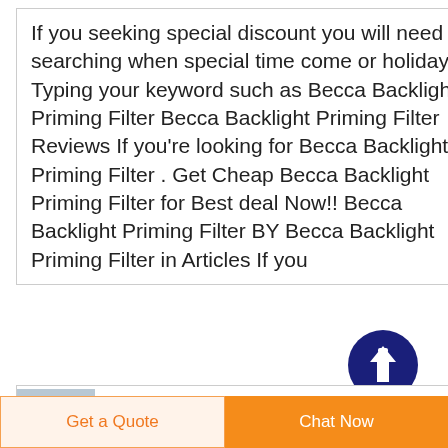If you seeking special discount you will need to searching when special time come or holidays. Typing your keyword such as Becca Backlight Priming Filter Becca Backlight Priming Filter Reviews If you're looking for Becca Backlight Priming Filter . Get Cheap Becca Backlight Priming Filter for Best deal Now!! Becca Backlight Priming Filter BY Becca Backlight Priming Filter in Articles If you
[Figure (other): Dark navy blue circle with a white upward arrow icon (scroll-to-top button)]
[Figure (photo): Small thumbnail image of water, appearing grayish-blue]
Water
Get a Quote
Chat Now